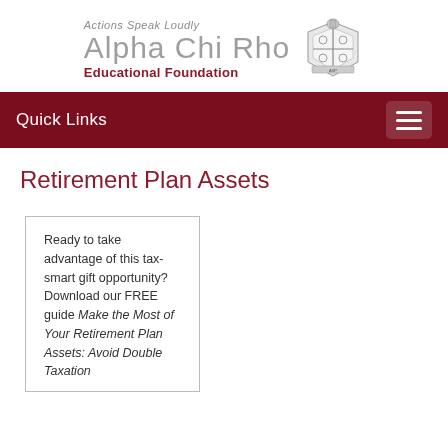[Figure (logo): Alpha Chi Rho Educational Foundation logo with crest. Tagline: Actions Speak Loudly. Organization name: Alpha Chi Rho. Subtitle: Educational Foundation.]
Quick Links
Retirement Plan Assets
Ready to take advantage of this tax-smart gift opportunity? Download our FREE guide Make the Most of Your Retirement Plan Assets: Avoid Double Taxation